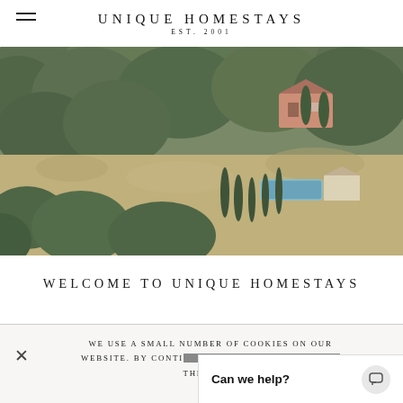UNIQUE HOMESTAYS EST. 2001
[Figure (photo): Aerial view of a countryside estate surrounded by trees, with a swimming pool and cypress trees lining a path, a salmon-pink house visible among lush green woodland.]
WELCOME TO UNIQUE HOMESTAYS
WE USE A SMALL NUMBER OF COOKIES ON OUR WEBSITE. BY CONTINUING YOU ARE AGREEING TO THEIR US...
Can we help?